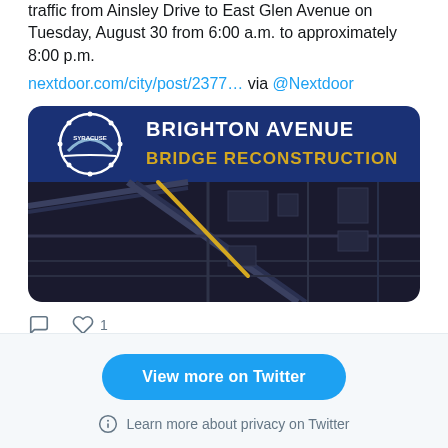traffic from Ainsley Drive to East Glen Avenue on Tuesday, August 30 from 6:00 a.m. to approximately 8:00 p.m.
nextdoor.com/city/post/2377… via @Nextdoor
[Figure (infographic): Brighton Avenue Bridge Reconstruction banner with Syracuse city logo on dark blue background, below is a dark map showing road network with highlighted route]
comment icon, heart icon with count 1
View more on Twitter
Learn more about privacy on Twitter